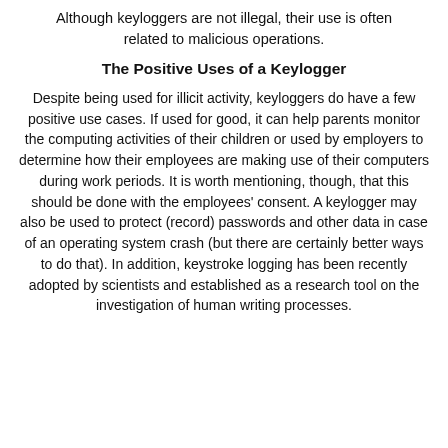Although keyloggers are not illegal, their use is often related to malicious operations.
The Positive Uses of a Keylogger
Despite being used for illicit activity, keyloggers do have a few positive use cases. If used for good, it can help parents monitor the computing activities of their children or used by employers to determine how their employees are making use of their computers during work periods. It is worth mentioning, though, that this should be done with the employees' consent. A keylogger may also be used to protect (record) passwords and other data in case of an operating system crash (but there are certainly better ways to do that). In addition, keystroke logging has been recently adopted by scientists and established as a research tool on the investigation of human writing processes.